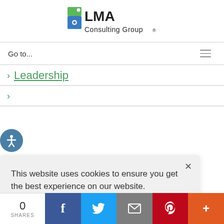[Figure (logo): LMA Consulting Group logo with green and blue gear/puzzle icon and text 'LMA Consulting Group']
Go to...
> Leadership
> Manufacturing
This website uses cookies to ensure you get the best experience on our website.
Dismiss   Accept
0 SHARES